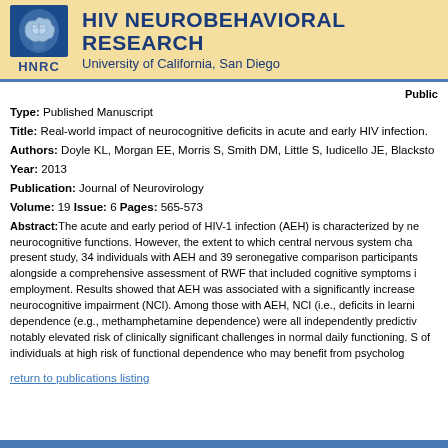[Figure (logo): HNRC HIV Neurobehavioral Research Center logo with brain icon and University of California, San Diego text]
Public
Type: Published Manuscript
Title: Real-world impact of neurocognitive deficits in acute and early HIV infection.
Authors: Doyle KL, Morgan EE, Morris S, Smith DM, Little S, Iudicello JE, Blacksto
Year: 2013
Publication: Journal of Neurovirology
Volume: 19 Issue: 6 Pages: 565-573
Abstract: The acute and early period of HIV-1 infection (AEH) is characterized by neurocognitive functions. However, the extent to which central nervous system changes present study, 34 individuals with AEH and 39 seronegative comparison participants alongside a comprehensive assessment of RWF that included cognitive symptoms i employment. Results showed that AEH was associated with a significantly increase neurocognitive impairment (NCI). Among those with AEH, NCI (i.e., deficits in learni dependence (e.g., methamphetamine dependence) were all independently predictiv notably elevated risk of clinically significant challenges in normal daily functioning. S of individuals at high risk of functional dependence who may benefit from psycholog
return to publications listing